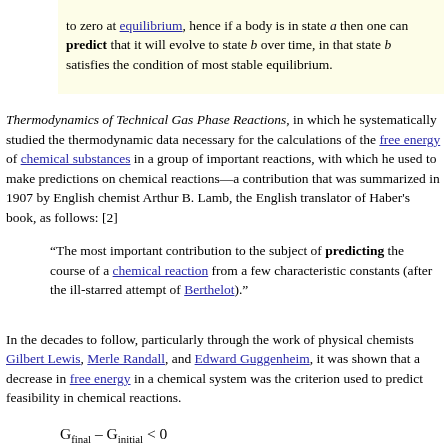to zero at equilibrium, hence if a body is in state a then one can predict that it will evolve to state b over time, in that state b satisfies the condition of most stable equilibrium.
Thermodynamics of Technical Gas Phase Reactions, in which he systematically studied the thermodynamic data necessary for the calculations of the free energy of chemical substances in a group of important reactions, with which he used to make predictions on chemical reactions—a contribution that was summarized in 1907 by English chemist Arthur B. Lamb, the English translator of Haber's book, as follows: [2]
“The most important contribution to the subject of predicting the course of a chemical reaction from a few characteristic constants (after the ill-starred attempt of Berthelot).”
In the decades to follow, particularly through the work of physical chemists Gilbert Lewis, Merle Randall, and Edward Guggenheim, it was shown that a decrease in free energy in a chemical system was the criterion used to predict feasibility in chemical reactions.